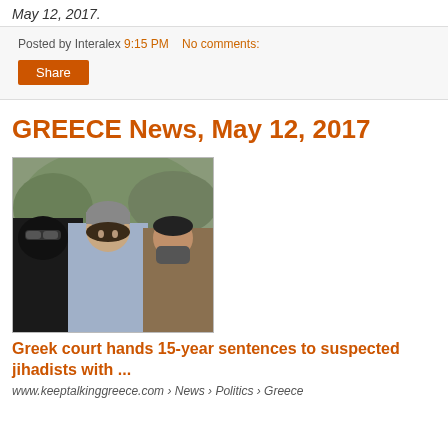May 12, 2017.
Posted by Interalex 9:15 PM   No comments:
Share
GREECE News, May 12, 2017
[Figure (photo): Three men, one with black face mask and sunglasses on the left, a young man in a grey knit cap in the center, and a third man on the right, in an outdoor setting with trees/bushes in background.]
Greek court hands 15-year sentences to suspected jihadists with ...
www.keeptalkinggreece.com › News › Politics › Greece